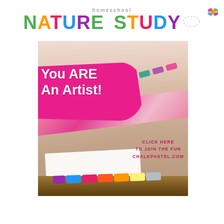homeschool NATURE STUDY
[Figure (illustration): Advertisement image for chalkpastel.com showing colorful chalk pastels scattered on a pink fabric background, with a hot-pink brushstroke banner reading 'You ARE An Artist!' and text 'CLICK HERE TO JOIN THE FUN CHALKPASTEL.COM']